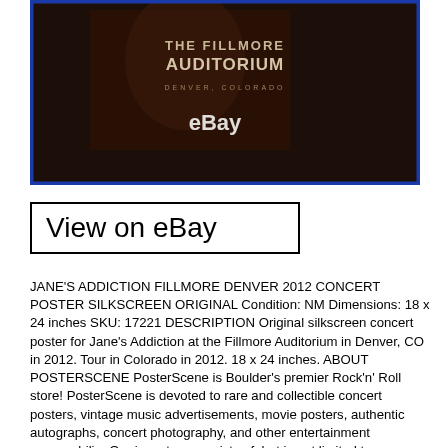[Figure (photo): Photo of a concert poster for The Fillmore Auditorium, with eBay watermark overlay. Dark background with text 'THE FILLMORE AUDITORIUM' and 'eBay' in white.]
View on eBay
JANE'S ADDICTION FILLMORE DENVER 2012 CONCERT POSTER SILKSCREEN ORIGINAL Condition: NM Dimensions: 18 x 24 inches SKU: 17221 DESCRIPTION Original silkscreen concert poster for Jane's Addiction at the Fillmore Auditorium in Denver, CO in 2012. Tour in Colorado in 2012. 18 x 24 inches. ABOUT POSTERSCENE PosterScene is Boulder's premier Rock'n' Roll store! PosterScene is devoted to rare and collectible concert posters, vintage music advertisements, movie posters, authentic autographs, concert photography, and other entertainment memorabilia. Our inventory consists of, but is not limited to: – Limited edition silkscreen posters by renowned artists such as Kozik, Emek, Chuck Sperry, Jim Pollock, Mile DuBois, Bob Masse, Richard Biffle, Jeff Wood, Ken Taylor, AJ Masthay, David Welker, Jermaine Rogers, Dan Stiles, Darren Grealish, Lindsey Kuhn, Todd Slater, and many others. Vintage 1960's and 70's concert posters frrom the San Francisco and Denver area, such as The Fillmore, Avalon and Family Dog. Posters from the new Bill Graham Fillmore series, as well as the Warfield BGP series. Telephone pole advertising posters, flyers and handbills from around the world. Vintage concert and promo newspaper advertisement clipping from the 1960's